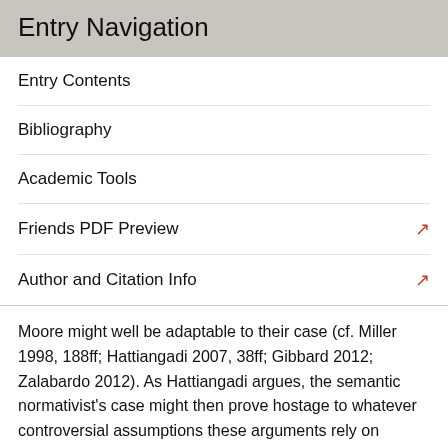Entry Navigation
Entry Contents
Bibliography
Academic Tools
Friends PDF Preview
Author and Citation Info
Moore might well be adaptable to their case (cf. Miller 1998, 188ff; Hattiangadi 2007, 38ff; Gibbard 2012; Zalabardo 2012). As Hattiangadi argues, the semantic normativist's case might then prove hostage to whatever controversial assumptions these arguments rely on (motivational internalism, for instance, might be such an issue), thus removing normativism further from being the pre-theoretical constraint on acceptable accounts of meaning/content that Kripke's skeptic meant it to be.
Normativism about meaning/content might thus exclude (fully) whatever normative discourse amounts to — and meaning